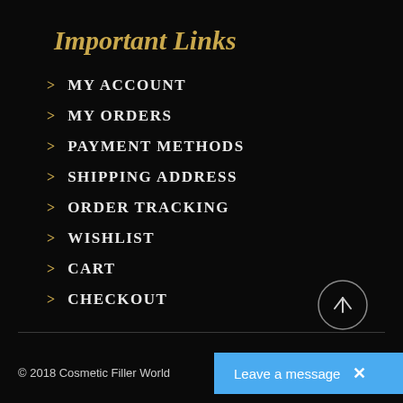Important Links
MY ACCOUNT
MY ORDERS
PAYMENT METHODS
SHIPPING ADDRESS
ORDER TRACKING
WISHLIST
CART
CHECKOUT
© 2018 Cosmetic Filler World     All Rights Reserved
Leave a message  ×